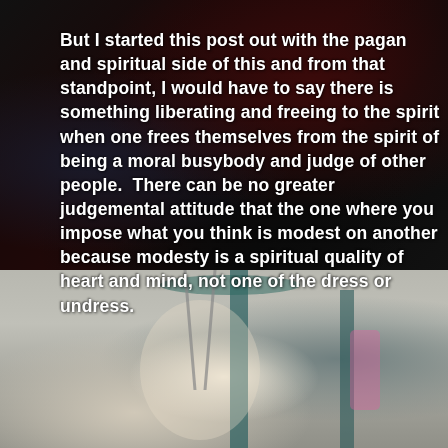[Figure (photo): Dark fantasy/gothic background image with dark creature or armor figure with red accents]
But I started this post out with the pagan and spiritual side of this and from that standpoint, I would have to say there is something liberating and freeing to the spirit when one frees themselves from the spirit of being a moral busybody and judge of other people.  There can be no greater judgemental attitude that the one where you impose what you think is modest on another because modesty is a spiritual quality of heart and mind, not one of the dress or undress.
[Figure (photo): Black and white photo of a woman with long blonde hair laughing and holding chains at a playground, with playground equipment visible in background]